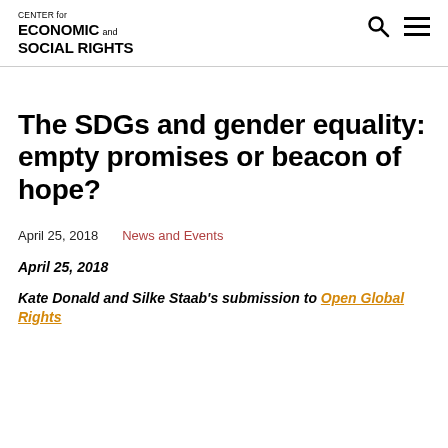CENTER for ECONOMIC and SOCIAL RIGHTS
The SDGs and gender equality: empty promises or beacon of hope?
April 25, 2018    News and Events
April 25, 2018
Kate Donald and Silke Staab's submission to Open Global Rights